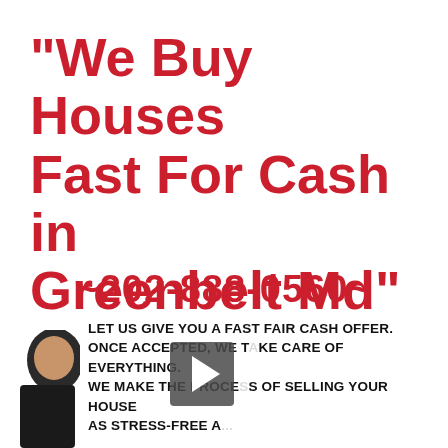“We Buy Houses Fast For Cash in Greenbelt Md”
~202-888-0560~
[Figure (illustration): Small illustration of a cardboard house model, orange and tan colored]
[Figure (illustration): Partial figure of a person (cartoon/illustrated character) visible at bottom left]
LET US GIVE YOU A FAST FAIR CASH OFFER. ONCE ACCEPTED, WE TAKE CARE OF EVERYTHING. WE MAKE THE PROCESS OF SELLING YOUR HOUSE AS STRESS-FREE A...
[Figure (other): Video play button overlay (dark triangle/arrow in a rectangle) centered over the bottom section]